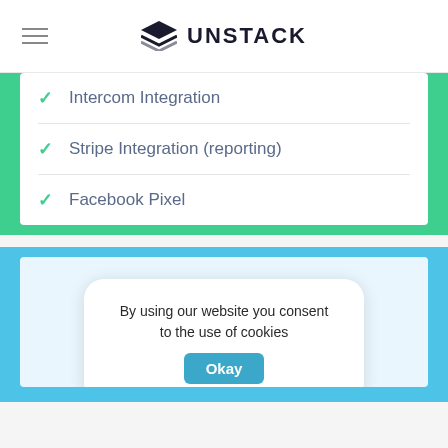UNSTACK
Intercom Integration
Stripe Integration (reporting)
Facebook Pixel
[Figure (screenshot): A cookie consent popup on a light blue background card, showing text 'By using our website you consent to the use of cookies' with an 'Okay' button in teal/blue color.]